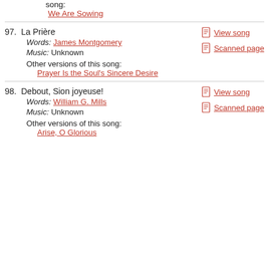We Are Sowing (link, partial/previous song)
97. La Prière — Words: James Montgomery, Music: Unknown. Other versions: Prayer Is the Soul's Sincere Desire. Links: View song, Scanned page
98. Debout, Sion joyeuse! — Words: William G. Mills, Music: Unknown. Other versions: Arise, O Glorious (link partial). Links: View song, Scanned page